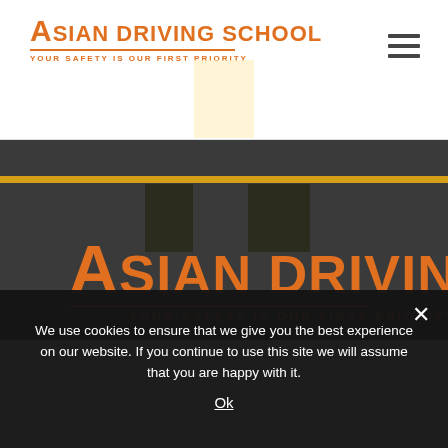[Figure (logo): Asian Driving School logo in orange with tagline YOUR SAFETY IS OUR FIRST PRIORITY in the header area]
[Figure (illustration): Hamburger/menu icon (three horizontal bars) in the top right of the header]
[Figure (illustration): Road background section showing dark asphalt texture with yellow stripe and large Asian Driving School logo in orange with tagline YOUR SAFETY IS OUR FIRST PRIORITY]
We use cookies to ensure that we give you the best experience on our website. If you continue to use this site we will assume that you are happy with it.
Ok